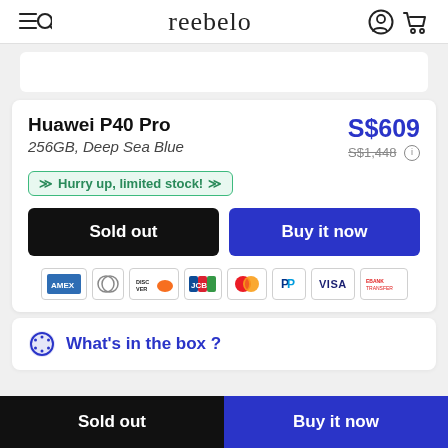reebelo
Huawei P40 Pro
256GB, Deep Sea Blue
S$609
S$1,448
Hurry up, limited stock!
Sold out
Buy it now
[Figure (other): Payment method icons: AMEX, Diners Club, Discover, JCB, Mastercard, PayPal, VISA, Bank Transfer]
What's in the box ?
Sold out | Buy it now